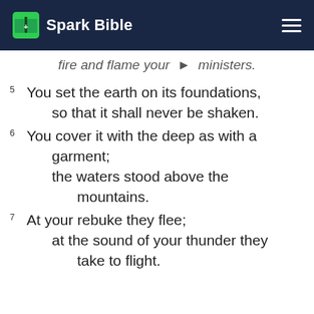Spark Bible
fire and flame your ministers.
5 You set the earth on its foundations, so that it shall never be shaken.
6 You cover it with the deep as with a garment; the waters stood above the mountains.
7 At your rebuke they flee; at the sound of your thunder they take to flight.